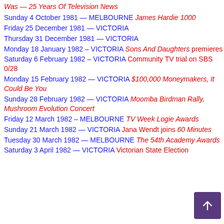Was — 25 Years Of Television News
Sunday 4 October 1981 — MELBOURNE James Hardie 1000
Friday 25 December 1981 — VICTORIA
Thursday 31 December 1981 — VICTORIA
Monday 18 January 1982 – VICTORIA Sons And Daughters premieres
Saturday 6 February 1982 – VICTORIA Community TV trial on SBS 0/28
Monday 15 February 1982 — VICTORIA $100,000 Moneymakers, It Could Be You
Sunday 28 February 1982 — VICTORIA Moomba Birdman Rally, Mushroom Evolution Concert
Friday 12 March 1982 – MELBOURNE TV Week Logie Awards
Sunday 21 March 1982 — VICTORIA Jana Wendt joins 60 Minutes
Tuesday 30 March 1982 — MELBOURNE The 54th Academy Awards
Saturday 3 April 1982 — VICTORIA Victorian State Election